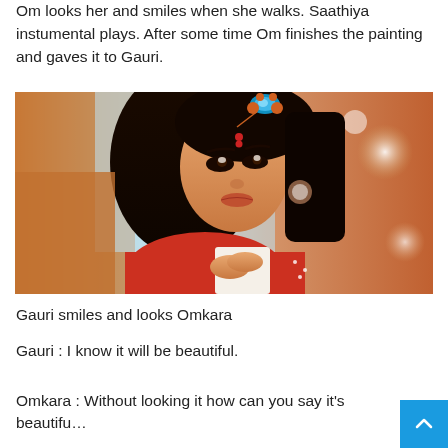Om looks her and smiles when she walks. Saathiya instumental plays. After some time Om finishes the painting and gaves it to Gauri.
[Figure (photo): A young Indian woman in traditional attire with decorative forehead jewelry (maang tikka) looking upward, holding a white rectangular object, with warm orange-tinted background lighting.]
Gauri smiles and looks Omkara
Gauri : I know it will be beautiful.
Omkara : Without looking it how can you say it's beautifu…